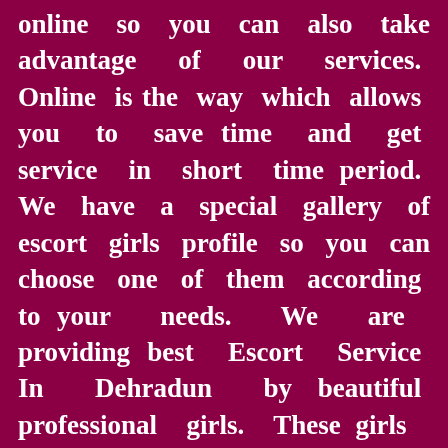online so you can also take advantage of our services. Online is the way which allows you to save time and get service in short time period. We have a special gallery of escort girls profile so you can choose one of them according to your needs. We are providing best Escort Service In Dehradun by beautiful professional girls. These girls are always prepared to provide service as per the clients demand. So you just need to get in touch with us after that all responsibility...